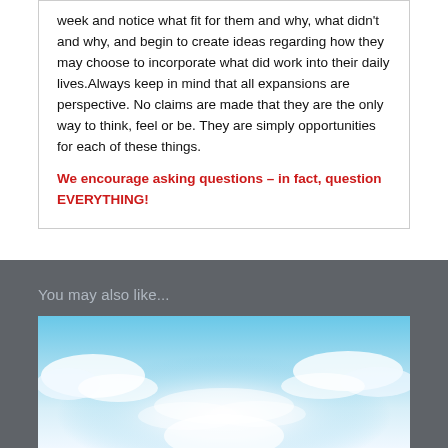week and notice what fit for them and why, what didn't and why, and begin to create ideas regarding how they may choose to incorporate what did work into their daily lives. Always keep in mind that all expansions are perspective. No claims are made that they are the only way to think, feel or be. They are simply opportunities for each of these things.
We encourage asking questions – in fact, question EVERYTHING!
You may also like...
[Figure (photo): Sky with clouds, blue sky and white fluffy clouds, bright light in center]